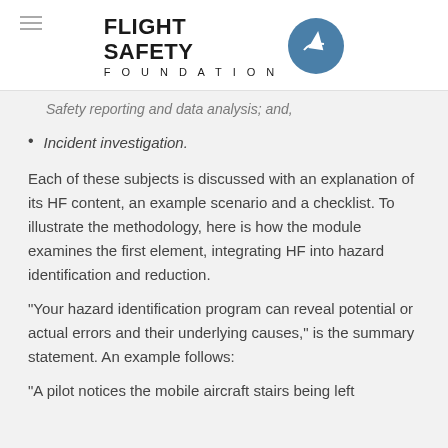FLIGHT SAFETY FOUNDATION
Safety reporting and data analysis; and,
Incident investigation.
Each of these subjects is discussed with an explanation of its HF content, an example scenario and a checklist. To illustrate the methodology, here is how the module examines the first element, integrating HF into hazard identification and reduction.
“Your hazard identification program can reveal potential or actual errors and their underlying causes,” is the summary statement. An example follows:
“A pilot notices the mobile aircraft stairs being left